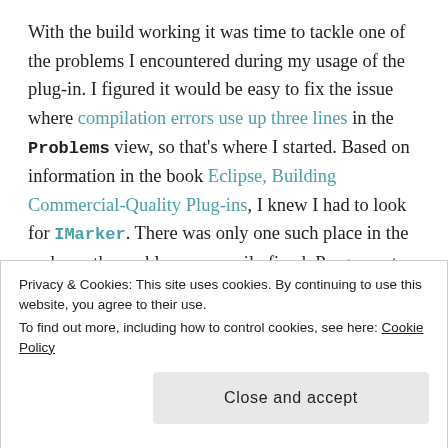With the build working it was time to tackle one of the problems I encountered during my usage of the plug-in. I figured it would be easy to fix the issue where compilation errors use up three lines in the Problems view, so that's where I started. Based on information in the book Eclipse, Building Commercial-Quality Plug-ins, I knew I had to look for IMarker. There was only one such place in the code, so the problem was easily fixed. Progress at last!
I took a look at the other issues that were reported against the plug-in. There are right there coming along the...
Privacy & Cookies: This site uses cookies. By continuing to use this website, you agree to their use.
To find out more, including how to control cookies, see here: Cookie Policy
Close and accept